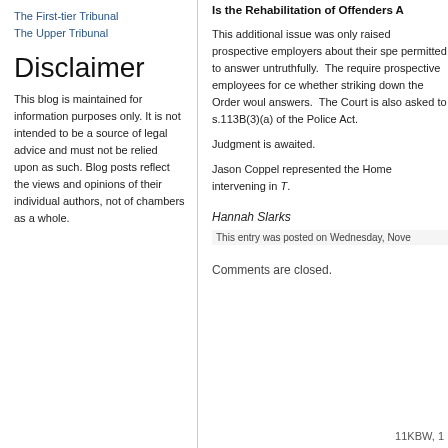The First-tier Tribunal
The Upper Tribunal
Disclaimer
This blog is maintained for information purposes only. It is not intended to be a source of legal advice and must not be relied upon as such. Blog posts reflect the views and opinions of their individual authors, not of chambers as a whole.
Is the Rehabilitation of Offenders A
This additional issue was only raised prospective employers about their spe permitted to answer untruthfully.  The require prospective employees for ce whether striking down the Order woul answers.  The Court is also asked to s.113B(3)(a) of the Police Act.
Judgment is awaited.
Jason Coppel represented the Home intervening in T.
Hannah Slarks
This entry was posted on Wednesday, Nove
Comments are closed.
11KBW, 1